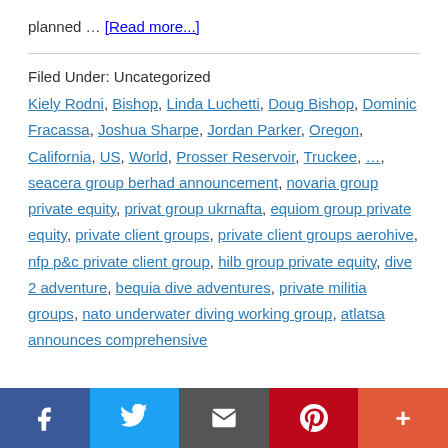planned … [Read more...]
Filed Under: Uncategorized
Kiely Rodni, Bishop, Linda Luchetti, Doug Bishop, Dominic Fracassa, Joshua Sharpe, Jordan Parker, Oregon, California, US, World, Prosser Reservoir, Truckee, …, seacera group berhad announcement, novaria group private equity, privat group ukrnafta, equiom group private equity, private client groups, private client groups aerohive, nfp p&c private client group, hilb group private equity, dive 2 adventure, bequia dive adventures, private militia groups, nato underwater diving working group, atlatsa announces comprehensive
[Figure (other): Social media sharing bar with Facebook, Twitter, Email, Pinterest, and More buttons]